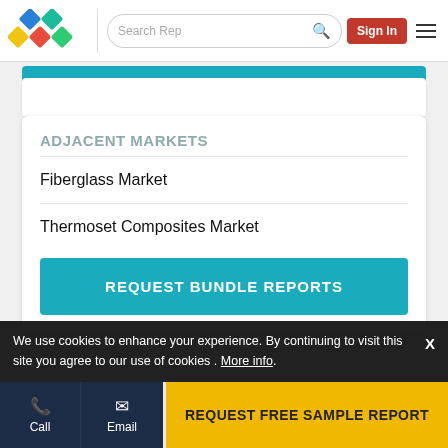Search Rep | Sign In
ADJACENT MARKETS
Fiberglass Market
Thermoset Composites Market
REQUEST BUNDLE REPORTS
We use cookies to enhance your experience. By continuing to visit this site you agree to our use of cookies . More info.
REQUEST FREE SAMPLE REPORT